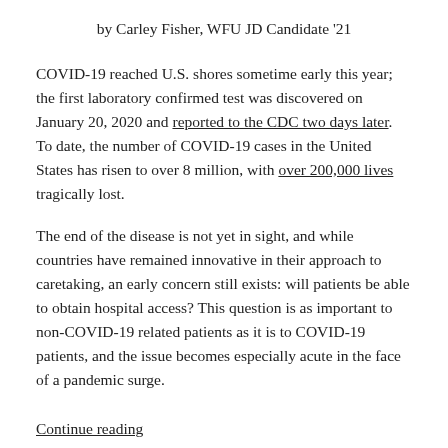by Carley Fisher, WFU JD Candidate '21
COVID-19 reached U.S. shores sometime early this year; the first laboratory confirmed test was discovered on January 20, 2020 and reported to the CDC two days later. To date, the number of COVID-19 cases in the United States has risen to over 8 million, with over 200,000 lives tragically lost.
The end of the disease is not yet in sight, and while countries have remained innovative in their approach to caretaking, an early concern still exists: will patients be able to obtain hospital access? This question is as important to non-COVID-19 related patients as it is to COVID-19 patients, and the issue becomes especially acute in the face of a pandemic surge.
Continue reading